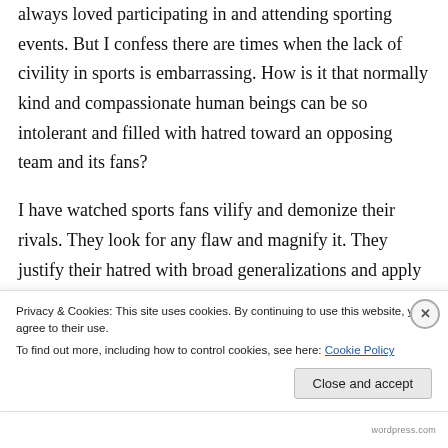always loved participating in and attending sporting events. But I confess there are times when the lack of civility in sports is embarrassing. How is it that normally kind and compassionate human beings can be so intolerant and filled with hatred toward an opposing team and its fans?
I have watched sports fans vilify and demonize their rivals. They look for any flaw and magnify it. They justify their hatred with broad generalizations and apply them to everyone
Privacy & Cookies: This site uses cookies. By continuing to use this website, you agree to their use.
To find out more, including how to control cookies, see here: Cookie Policy